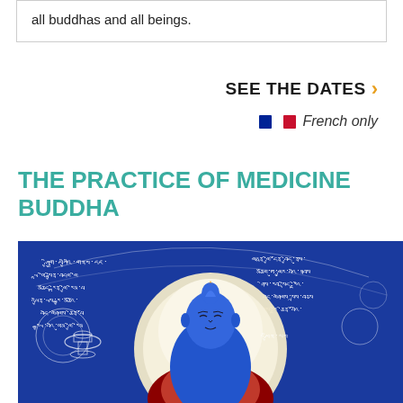all buddhas and all beings.
SEE THE DATES >
French only
THE PRACTICE OF MEDICINE BUDDHA
[Figure (illustration): Illustration of Medicine Buddha seated in meditation, depicted in blue with a golden halo, wearing red robes, against a blue background with Tibetan script and decorative elements]